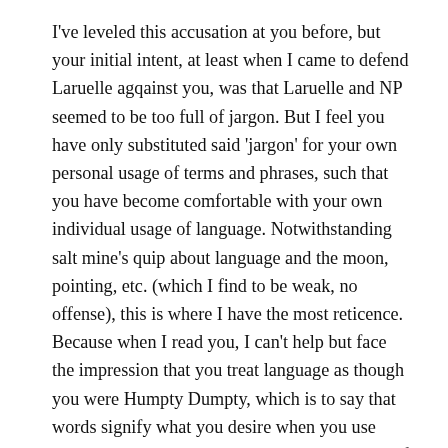I've leveled this accusation at you before, but your initial intent, at least when I came to defend Laruelle agqainst you, was that Laruelle and NP seemed to be too full of jargon. But I feel you have only substituted said 'jargon' for your own personal usage of terms and phrases, such that you have become comfortable with your own individual usage of language. Notwithstanding salt mine's quip about language and the moon, pointing, etc. (which I find to be weak, no offense), this is where I have the most reticence. Because when I read you, I can't help but face the impression that you treat language as though you were Humpty Dumpty, which is to say that words signify what you desire when you use them, and this leads me to lack any semblance of understanding when encountering your writing.